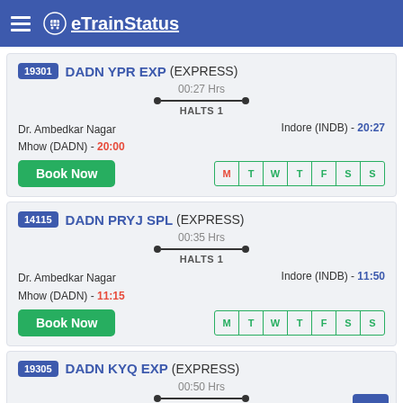eTrainStatus
19301 DADN YPR EXP (EXPRESS) — 00:27 Hrs, HALTS 1 — Dr. Ambedkar Nagar Mhow (DADN) - 20:00 — Indore (INDB) - 20:27
14115 DADN PRYJ SPL (EXPRESS) — 00:35 Hrs, HALTS 1 — Dr. Ambedkar Nagar Mhow (DADN) - 11:15 — Indore (INDB) - 11:50
19305 DADN KYQ EXP (EXPRESS) — 00:50 Hrs, HALTS 1